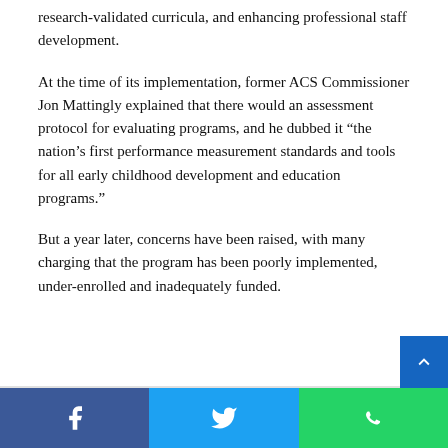research-validated curricula, and enhancing professional staff development.
At the time of its implementation, former ACS Commissioner Jon Mattingly explained that there would an assessment protocol for evaluating programs, and he dubbed it “the nation’s first performance measurement standards and tools for all early childhood development and education programs.”
But a year later, concerns have been raised, with many charging that the program has been poorly implemented, under-enrolled and inadequately funded.